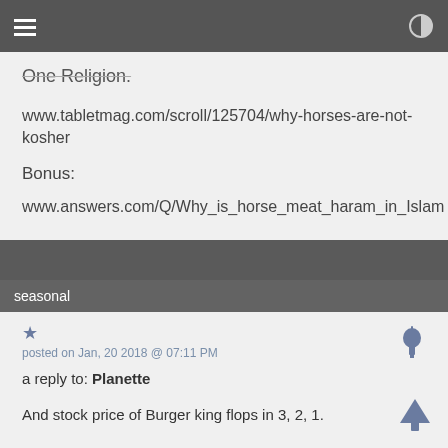One Religion.
www.tabletmag.com/scroll/125704/why-horses-are-not-kosher
Bonus:
www.answers.com/Q/Why_is_horse_meat_haram_in_Islam
seasonal
posted on Jan, 20 2018 @ 07:11 PM
a reply to: Planette
And stock price of Burger king flops in 3, 2, 1.